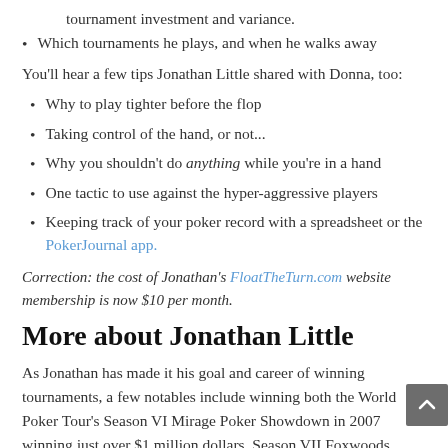tournament investment and variance.
Which tournaments he plays, and when he walks away
You'll hear a few tips Jonathan Little shared with Donna, too:
Why to play tighter before the flop
Taking control of the hand, or not...
Why you shouldn't do anything while you're in a hand
One tactic to use against the hyper-aggressive players
Keeping track of your poker record with a spreadsheet or the PokerJournal app.
Correction: the cost of Jonathan's FloatTheTurn.com website membership is now $10 per month.
More about Jonathan Little
As Jonathan has made it his goal and career of winning tournaments, a few notables include winning both the World Poker Tour's Season VI Mirage Poker Showdown in 2007 winning just over $1 million dollars, Season VII Foxwoods World Poker Finals and winning the WPT Season VI Player of the Year award.